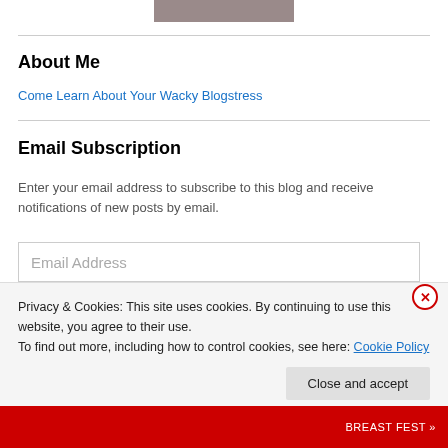[Figure (photo): Partial photo of a person at the top of the page]
About Me
Come Learn About Your Wacky Blogstress
Email Subscription
Enter your email address to subscribe to this blog and receive notifications of new posts by email.
Email Address
Privacy & Cookies: This site uses cookies. By continuing to use this website, you agree to their use.
To find out more, including how to control cookies, see here: Cookie Policy
Close and accept